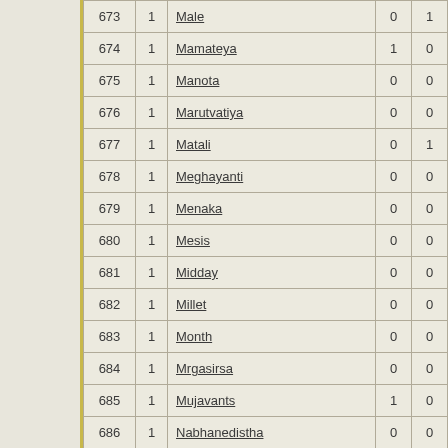| # | 1 | Name | 0 | 1 |
| --- | --- | --- | --- | --- |
| 673 | 1 | Male | 0 | 1 |
| 674 | 1 | Mamateya | 1 | 0 |
| 675 | 1 | Manota | 0 | 0 |
| 676 | 1 | Marutvatiya | 0 | 0 |
| 677 | 1 | Matali | 0 | 1 |
| 678 | 1 | Meghayanti | 0 | 0 |
| 679 | 1 | Menaka | 0 | 0 |
| 680 | 1 | Mesis | 0 | 0 |
| 681 | 1 | Midday | 0 | 0 |
| 682 | 1 | Millet | 0 | 0 |
| 683 | 1 | Month | 0 | 0 |
| 684 | 1 | Mrgasirsa | 0 | 0 |
| 685 | 1 | Mujavants | 1 | 0 |
| 686 | 1 | Nabhanedistha | 0 | 0 |
| 687 | 1 | Namuci | 1 | 0 |
| 688 | 1 | Napat | 0 | 1 |
| 689 | 1 | Narasansis | 0 | 0 |
| 690 | 1 | Nardabuda | 0 | 0 |
| 691 | 1 | Nest | 0 | 0 |